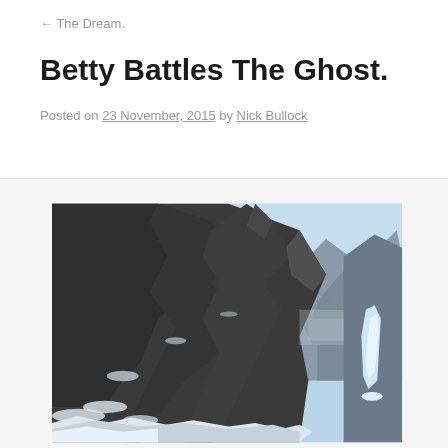← The Dream.
Betty Battles The Ghost.
Posted on 23 November, 2015 by Nick Bullock
[Figure (photo): A dramatic mountain landscape with large dark rocky cliffs, snow patches, a pale blue sky, and a frozen waterfall or ice feature visible on the right side of the scene.]